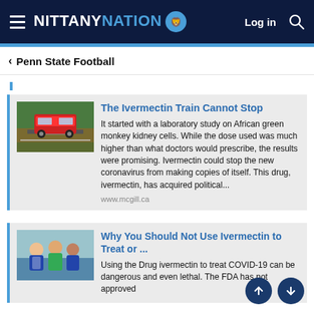NITTANY NATION — Log in
< Penn State Football
[Figure (screenshot): News article card: The Ivermectin Train Cannot Stop — thumbnail image of red train on tracks]
The Ivermectin Train Cannot Stop
It started with a laboratory study on African green monkey kidney cells. While the dose used was much higher than what doctors would prescribe, the results were promising. Ivermectin could stop the new coronavirus from making copies of itself. This drug, ivermectin, has acquired political...
www.mcgill.ca
[Figure (screenshot): News article card: Why You Should Not Use Ivermectin to Treat or ... — thumbnail image of doctors/medical workers]
Why You Should Not Use Ivermectin to Treat or ...
Using the Drug ivermectin to treat COVID-19 can be dangerous and even lethal. The FDA has not approved